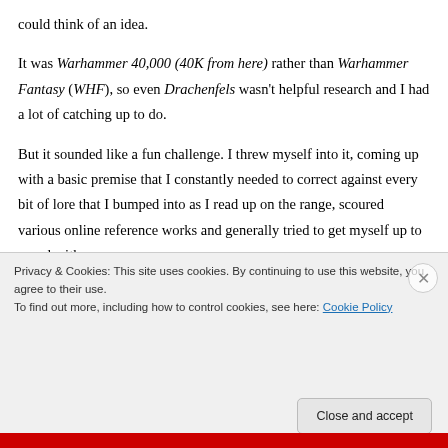could think of an idea.
It was Warhammer 40,000 (40K from here) rather than Warhammer Fantasy (WHF), so even Drachenfels wasn't helpful research and I had a lot of catching up to do.
But it sounded like a fun challenge. I threw myself into it, coming up with a basic premise that I constantly needed to correct against every bit of lore that I bumped into as I read up on the range, scoured various online reference works and generally tried to get myself up to speed with a
Privacy & Cookies: This site uses cookies. By continuing to use this website, you agree to their use.
To find out more, including how to control cookies, see here: Cookie Policy
Close and accept